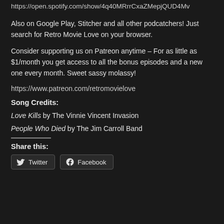https://open.spotify.com/show/4q40MRrrCxaZMepjQUD4Mv
Also on Google Play, Stitcher and all other podcatchers! Just search for Retro Movie Love on your browser.
Consider supporting us on Patreon anytime – For as little as $1/month you get access to all the bonus episodes and a new one every month. Sweet sassy molassy!
https://www.patreon.com/retromovielove
Song Credits:
Love Kills by The Vinnie Vincent Invasion
People Who Died by The Jim Carroll Band
Share this:
Twitter
Facebook